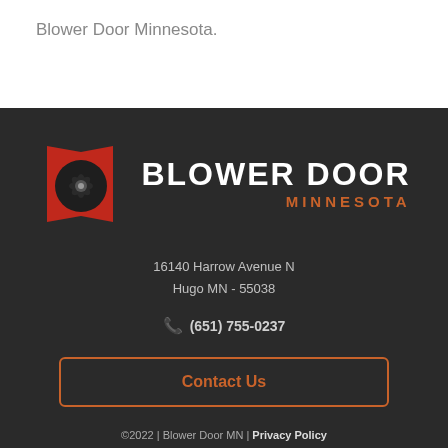Blower Door Minnesota.
[Figure (logo): Blower Door Minnesota logo — red door with fan/blower icon on left, BLOWER DOOR in white bold uppercase text, MINNESOTA in orange uppercase text below]
16140 Harrow Avenue N
Hugo MN - 55038
(651) 755-0237
Contact Us
©2022 | Blower Door MN | Privacy Policy
Credit Card Logos